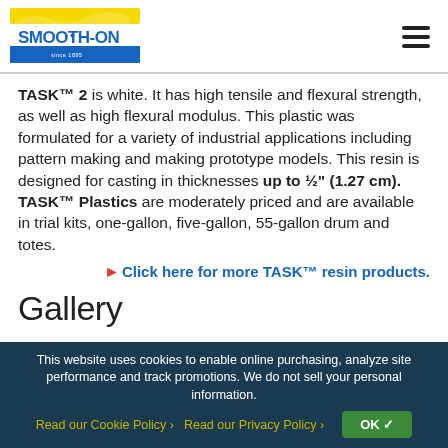Smooth-On logo and navigation menu
TASK™ 2 is white. It has high tensile and flexural strength, as well as high flexural modulus. This plastic was formulated for a variety of industrial applications including pattern making and making prototype models. This resin is designed for casting in thicknesses up to ½" (1.27 cm). TASK™ Plastics are moderately priced and are available in trial kits, one-gallon, five-gallon, 55-gallon drum and totes.
Click here for more TASK™ resin products.
Gallery
This website uses cookies to enable online purchasing, analyze site performance and track promotions. We do not sell your personal information. Read our Cookie Policy › Read our Privacy Policy ›